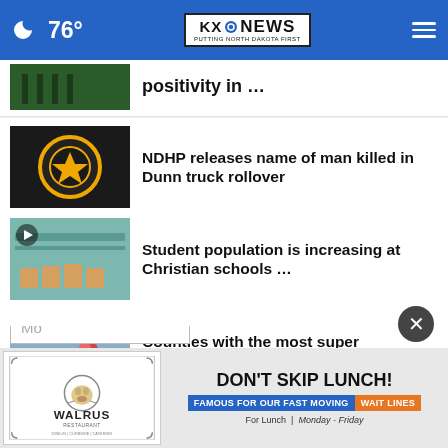76° KXO NEWS PUTTING NORTH DAKOTA FIRST
positivity in …
NDHP releases name of man killed in Dunn truck rollover
Student population is increasing at Christian schools …
Counties with the most super commuters in North Dakota
Keynote speaker at DSU highlights Roosevelt's sporting …
Mo
DON'T SKIP LUNCH! FAMOUS FOR OUR FAST MOVING WAIT LINES For Lunch | Monday - Friday